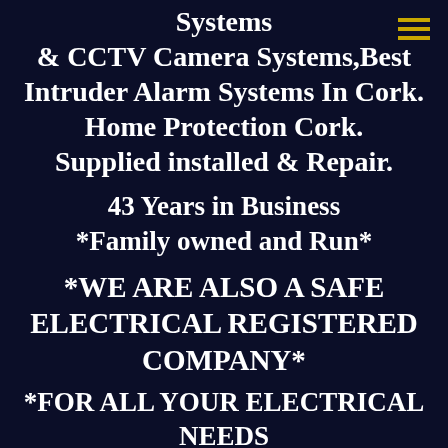Systems & CCTV Camera Systems,Best Intruder Alarm Systems In Cork. Home Protection Cork. Supplied installed & Repair.
43 Years in Business *Family owned and Run*
*WE ARE ALSO A SAFE ELECTRICAL REGISTERED COMPANY*
*FOR ALL YOUR ELECTRICAL NEEDS